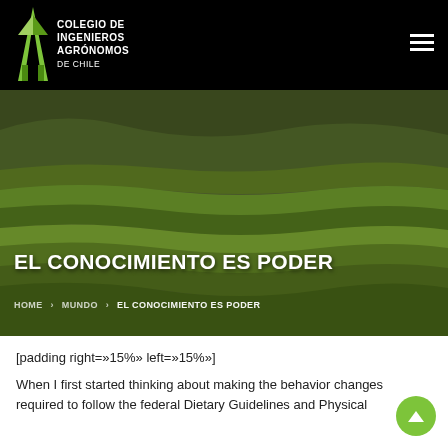COLEGIO DE INGENIEROS AGRÓNOMOS DE CHILE
[Figure (photo): Aerial photograph of green terraced rice fields on hillsides, used as hero banner background]
EL CONOCIMIENTO ES PODER
HOME > MUNDO > EL CONOCIMIENTO ES PODER
[padding right=»15%» left=»15%»]
When I first started thinking about making the behavior changes required to follow the federal Dietary Guidelines and Physical